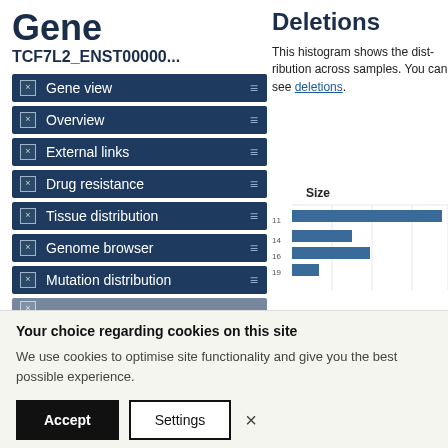Gene
TCF7L2_ENST00000...
Gene view
Overview
External links
Drug resistance
Tissue distribution
Genome browser
Mutation distribution
Deletions
This histogram shows the distribution across samples. You can see deletions.
[Figure (histogram): Horizontal bar histogram showing size distribution of deletions across samples. Y-axis has size bins (10, 14, 16, 19, etc.), x-axis shows frequency. The top bar (bin 11) is the longest, followed by shorter bars for other bins.]
Your choice regarding cookies on this site
We use cookies to optimise site functionality and give you the best possible experience.
Accept
Settings